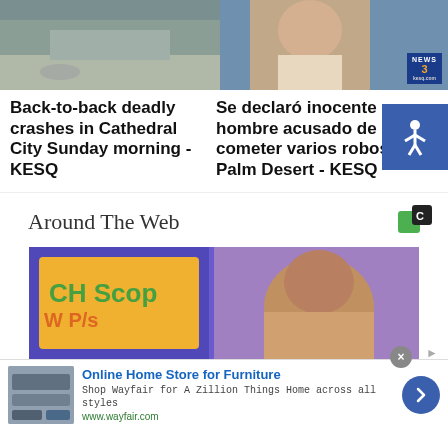[Figure (photo): Aerial or street view photo of road/parking area in Cathedral City]
[Figure (photo): Mugshot-style photo of a man, with News Channel 3 KESQ logo badge in corner]
Back-to-back deadly crashes in Cathedral City Sunday morning - KESQ
Se declaró inocente hombre acusado de cometer varios robos en Palm Desert - KESQ
Around The Web
[Figure (photo): Video thumbnail showing man at what appears to be a gaming machine with colorful signage]
[Figure (photo): Advertisement thumbnail showing furniture/home store items]
Online Home Store for Furniture
Shop Wayfair for A Zillion Things Home across all styles
www.wayfair.com